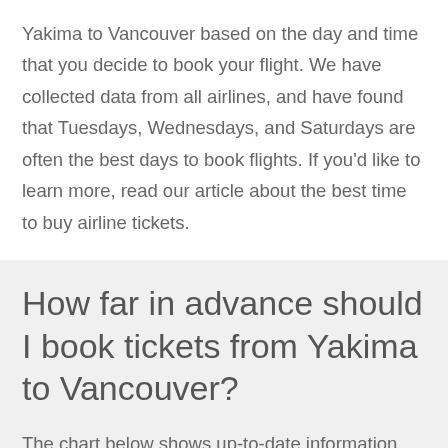Yakima to Vancouver based on the day and time that you decide to book your flight. We have collected data from all airlines, and have found that Tuesdays, Wednesdays, and Saturdays are often the best days to book flights. If you'd like to learn more, read our article about the best time to buy airline tickets.
How far in advance should I book tickets from Yakima to Vancouver?
The chart below shows up-to-date information